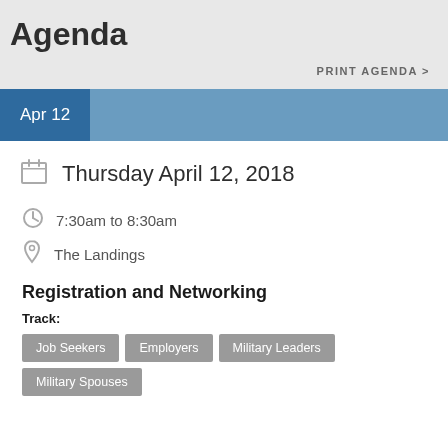Agenda
PRINT AGENDA >
Apr 12
Thursday April 12, 2018
7:30am to 8:30am
The Landings
Registration and Networking
Track:
Job Seekers
Employers
Military Leaders
Military Spouses